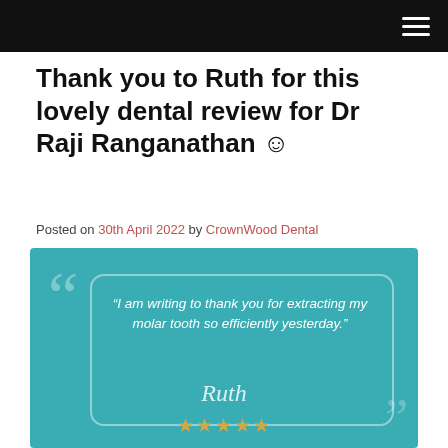Thank you to Ruth for this lovely dental review for Dr Raji Ranganathan ☺
Posted on 30th April 2022 by CrownWood Dental
[Figure (infographic): Teal-background testimonial card with large opening quotation marks, a rounded-rectangle border, italic white text reading “I am writing to thank you for extracting my molar tooth so efficiently yesterday.”, a script signature reading ‘Ruth’, and five gold stars below.]